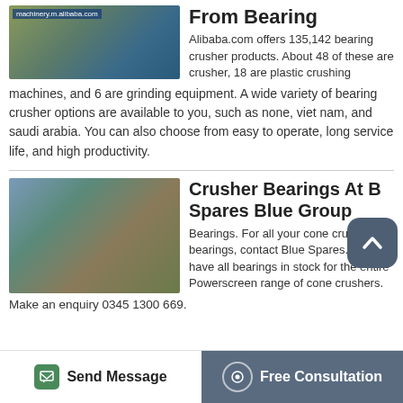[Figure (photo): Industrial machinery/crusher equipment on Alibaba.com]
From Bearing
Alibaba.com offers 135,142 bearing crusher products. About 48 of these are crusher, 18 are plastic crushing machines, and 6 are grinding equipment. A wide variety of bearing crusher options are available to you, such as none, viet nam, and saudi arabia. You can also choose from easy to operate, long service life, and high productivity.
[Figure (photo): Crusher machinery at Blue Spares Blue Group]
Crusher Bearings At B Spares Blue Group
Bearings. For all your cone crusher bearings, contact Blue Spares. We have all bearings in stock for the entire Powerscreen range of cone crushers.
Make an enquiry 0345 1300 669.
Send Message
Free Consultation